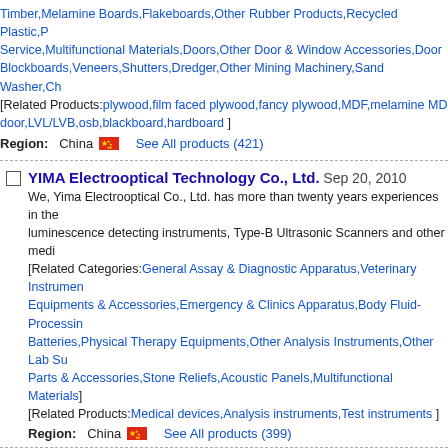Timber,Melamine Boards,Flakeboards,Other Rubber Products,Recycled Plastic,P Service,Multifunctional Materials,Doors,Other Door & Window Accessories,Door Blockboards,Veneers,Shutters,Dredger,Other Mining Machinery,Sand Washer,Ch [Related Products:plywood,film faced plywood,fancy plywood,MDF,melamine MD door,LVL/LVB,osb,blackboard,hardboard ]
Region: China  See All products (421)
YIMA Electrooptical Technology Co., Ltd. Sep 20, 2010
We, Yima Electrooptical Co., Ltd. has more than twenty years experiences in the luminescence detecting instruments, Type-B Ultrasonic Scanners and other medi [Related Categories:General Assay & Diagnostic Apparatus,Veterinary Instrumen Equipments & Accessories,Emergency & Clinics Apparatus,Body Fluid-Processin Batteries,Physical Therapy Equipments,Other Analysis Instruments,Other Lab Su Parts & Accessories,Stone Reliefs,Acoustic Panels,Multifunctional Materials] [Related Products:Medical devices,Analysis instruments,Test instruments ]
Region: China  See All products (399)
Suzhou Deers Precision Mold Co., Ltd. May 24, 2011
Suzhou Deers Precision Mold Co., Ltd. is specialized in producing and selling rub and other rubber products. We have over 15 years producing experience, and ou [Related Categories:Other Rubber Products,Rubber Hoses,Other Plastic Produc [Related Products:Rubber Fender,Marine Fender,Dock Fender,Dredging Hose,An Isolator,Seismic Isolator,oil floating hose ]
Region: China  See All products (81)